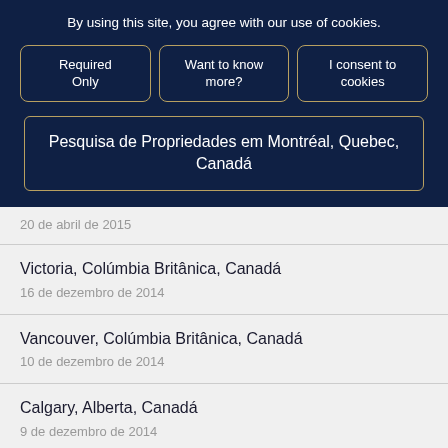By using this site, you agree with our use of cookies.
Required Only
Want to know more?
I consent to cookies
Pesquisa de Propriedades em Montréal, Quebec, Canadá
20 de abril de 2015
Victoria, Colúmbia Britânica, Canadá
16 de dezembro de 2014
Vancouver, Colúmbia Britânica, Canadá
10 de dezembro de 2014
Calgary, Alberta, Canadá
9 de dezembro de 2014